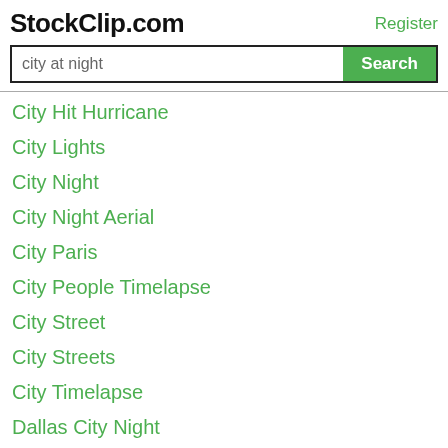StockClip.com
Register
city at night
City Hit Hurricane
City Lights
City Night
City Night Aerial
City Paris
City People Timelapse
City Street
City Streets
City Timelapse
Dallas City Night
Flight Over City
Future City
Futuristic City
German City Traffic